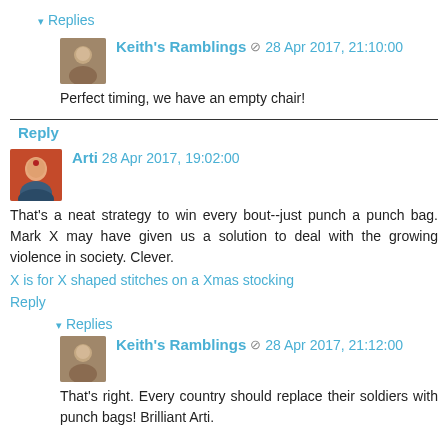▾ Replies
Keith's Ramblings ✏ 28 Apr 2017, 21:10:00
Perfect timing, we have an empty chair!
Reply
Arti 28 Apr 2017, 19:02:00
That's a neat strategy to win every bout--just punch a punch bag. Mark X may have given us a solution to deal with the growing violence in society. Clever.
X is for X shaped stitches on a Xmas stocking
Reply
▾ Replies
Keith's Ramblings ✏ 28 Apr 2017, 21:12:00
That's right. Every country should replace their soldiers with punch bags! Brilliant Arti.